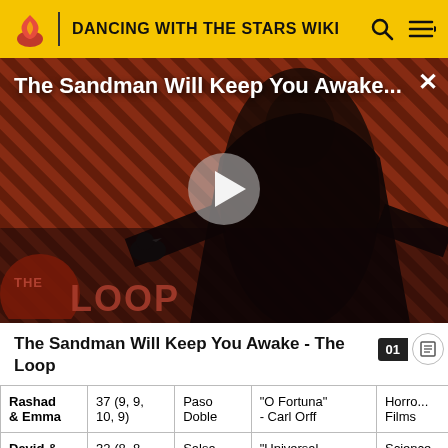DANCING WITH THE STARS WIKI
[Figure (screenshot): Video thumbnail for 'The Sandman Will Keep You Awake...' showing a dark-robed figure against a red diagonal-striped background with a play button in the center and 'THE LOOP' logo overlay at bottom left.]
The Sandman Will Keep You Awake - The Loop
| Couple | Score | Dance | Song | Theme |
| --- | --- | --- | --- | --- |
| Rashad & Emma | 37 (9, 9, 10, 9) | Paso Doble | "O Fortuna" - Carl Orff | Horror Films |
| David & | 32 (8, 8, | Salsa | "Universal | Science |